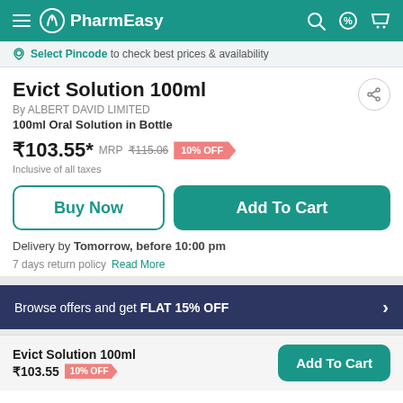PharmEasy
Select Pincode to check best prices & availability
Evict Solution 100ml
By ALBERT DAVID LIMITED
100ml Oral Solution in Bottle
₹103.55* MRP ₹115.06 10% OFF
Inclusive of all taxes
Buy Now | Add To Cart
Delivery by Tomorrow, before 10:00 pm
7 days return policy  Read More
Browse offers and get FLAT 15% OFF
Evict Solution 100ml
₹103.55  10% OFF
Add To Cart